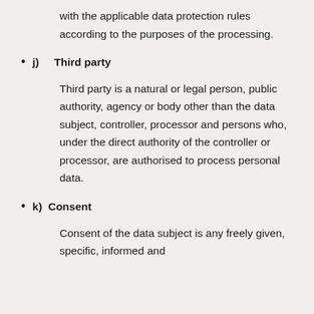with the applicable data protection rules according to the purposes of the processing.
j)    Third party
Third party is a natural or legal person, public authority, agency or body other than the data subject, controller, processor and persons who, under the direct authority of the controller or processor, are authorised to process personal data.
k)   Consent
Consent of the data subject is any freely given, specific, informed and